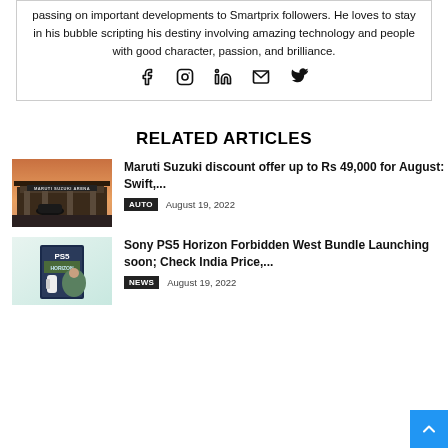passing on important developments to Smartprix followers. He loves to stay in his bubble scripting his destiny involving amazing technology and people with good character, passion, and brilliance.
[Figure (infographic): Social media icons: Facebook, Instagram, LinkedIn, Email, Twitter]
RELATED ARTICLES
[Figure (photo): Maruti Suzuki Arena showroom exterior at dusk]
Maruti Suzuki discount offer up to Rs 49,000 for August: Swift,...
AUTO   August 19, 2022
[Figure (photo): Sony PS5 Horizon Forbidden West Bundle product box]
Sony PS5 Horizon Forbidden West Bundle Launching soon; Check India Price,...
NEWS   August 19, 2022